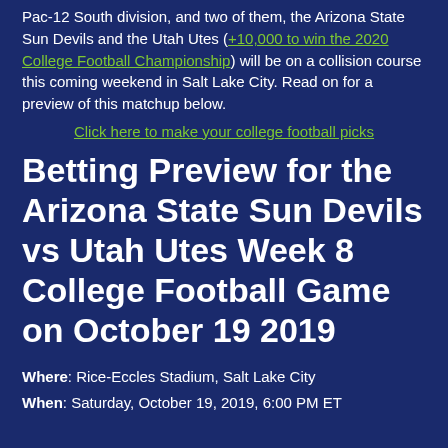Pac-12 South division, and two of them, the Arizona State Sun Devils and the Utah Utes (+10,000 to win the 2020 College Football Championship) will be on a collision course this coming weekend in Salt Lake City. Read on for a preview of this matchup below.
Click here to make your college football picks
Betting Preview for the Arizona State Sun Devils vs Utah Utes Week 8 College Football Game on October 19 2019
Where: Rice-Eccles Stadium, Salt Lake City
When: Saturday, October 19, 2019, 6:00 PM ET